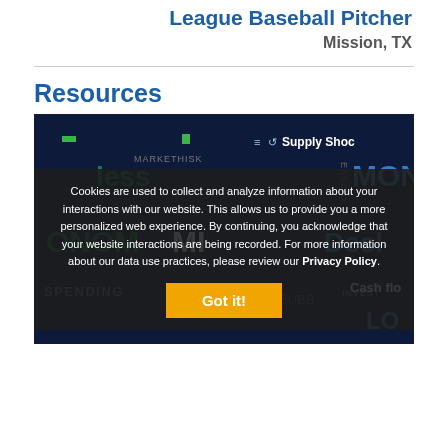League Baseball Pitcher
Mission, TX
Resources
[Figure (illustration): Word cloud image with financial terms on a dark navy background including: Supply Shock, Market Risk, Loss, Monetary, Economy, Decline, Spending, Value, Budget, Bubble, Invest, Cash Flow, Lo]
Cookies are used to collect and analyze information about your interactions with our website. This allows us to provide you a more personalized web experience. By continuing, you acknowledge that your website interactions are being recorded. For more information about our data use practices, please review our Privacy Policy.
Got it!